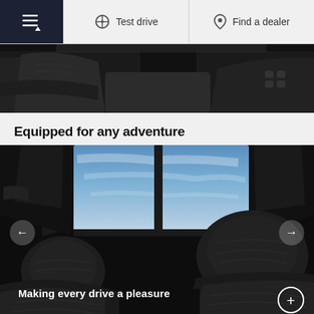Test drive | Find a dealer
[Figure (photo): Dark leather interior of a car, close-up of seats and dashboard trim]
Equipped for any adventure
[Figure (photo): Car interior panoramic sunroof view showing blue sky, leather seats in dark color with headrests visible, carousel navigation arrows on left and right]
Making every drive a pleasure